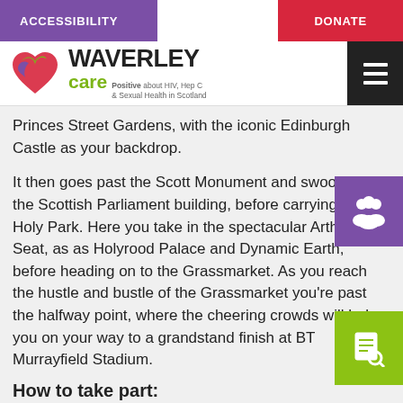ACCESSIBILITY   DONATE
[Figure (logo): Waverley Care logo with heart icon in red, purple, and green. Text reads WAVERLEY care Positive about HIV, Hep C & Sexual Health in Scotland]
Princes Street Gardens, with the iconic Edinburgh Castle as your backdrop.
It then goes past the Scott Monument and swoops past the Scottish Parliament building, before carrying onto Holy Park. Here you take in the spectacular Arthurs Seat, as as Holyrood Palace and Dynamic Earth, before heading on to the Grassmarket. As you reach the hustle and bustle of the Grassmarket you're past the halfway point, where the cheering crowds will help you on your way to a grandstand finish at BT Murrayfield Stadium.
How to take part:
Enter at www.mens10k.com/edinburgh (from £26.25)
and let us know you've signed up!